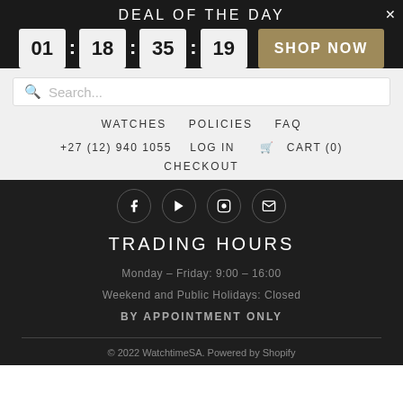DEAL OF THE DAY
01 : 18 : 35 : 19  SHOP NOW
[Figure (screenshot): Search bar with placeholder text 'Search...']
WATCHES   POLICIES   FAQ
+27 (12) 940 1055   LOG IN   CART (0)
CHECKOUT
[Figure (infographic): Four social media icons: Facebook, YouTube/Play, Instagram, Email/Mail]
TRADING HOURS
Monday - Friday: 9:00 - 16:00
Weekend and Public Holidays: Closed
BY APPOINTMENT ONLY
© 2022 WatchtimeSA. Powered by Shopify